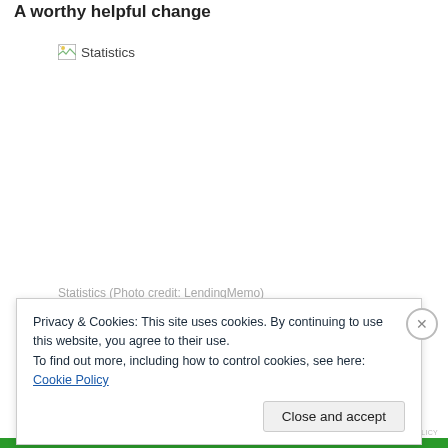A worthy helpful change
[Figure (photo): Broken image placeholder labeled 'Statistics']
Statistics (Photo credit: LendingMemo)
Privacy & Cookies: This site uses cookies. By continuing to use this website, you agree to their use.
To find out more, including how to control cookies, see here: Cookie Policy
Close and accept